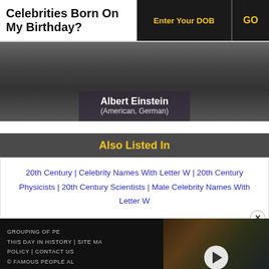Celebrities Born On My Birthday?
Albert Einstein (American, German)
Also Listed In
20th Century | Celebrity Names With Letter W | 20th Century Physicists | 20th Century Scientists | Male Celebrity Names With Letter W
GROUPING OF PE... | THIS DAY IN HISTORY | SITE MA... | POLICY | CONTACT US... | © FAMOUS PEOPLE AL...